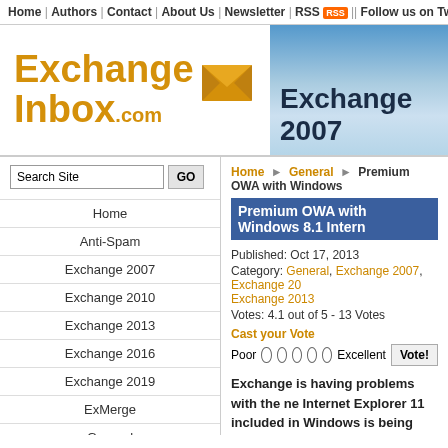Home | Authors | Contact | About Us | Newsletter | RSS | Follow us on Twitt
[Figure (logo): Exchange Inbox .com logo with envelope icon]
[Figure (infographic): Exchange 2007 banner advertisement]
Search Site GO
Home
Anti-Spam
Exchange 2007
Exchange 2010
Exchange 2013
Exchange 2016
Exchange 2019
ExMerge
General
High Availability
Install/Upgrade
Home ▶ General ▶ Premium OWA with Windows
Premium OWA with Windows 8.1 Intern
Published: Oct 17, 2013
Category: General, Exchange 2007, Exchange 20 Exchange 2013
Votes: 4.1 out of 5 - 13 Votes
Cast your Vote
Poor  Excellent Vote!
Exchange is having problems with the ne Internet Explorer 11 included in Windows is being served with the OWA Light interfa instead of the full blown OWA Premium. I various Exchange versions to check this and these were my findings.